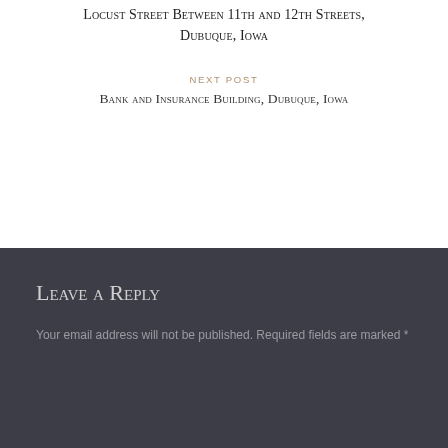Locust Street Between 11th and 12th Streets, Dubuque, Iowa
NEXT POST
Bank and Insurance Building, Dubuque, Iowa
Leave a Reply
Your email address will not be published. Required fields are marked *